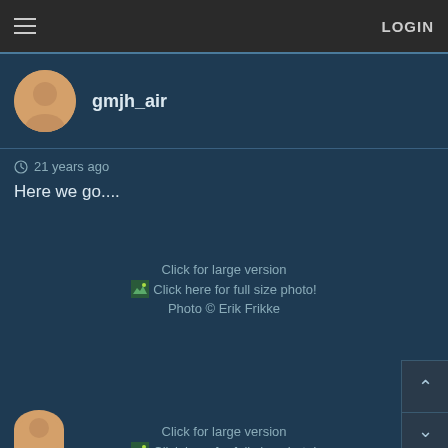LOGIN
gmjh_air
21 years ago
Here we go....
[Figure (photo): Click for large version photo link with thumbnail icon. Click here for full size photo! Photo © Erik Frikke]
[Figure (photo): Click for large version photo link with thumbnail icon. Click here for full size photo! Photo © Rhys Lauder]